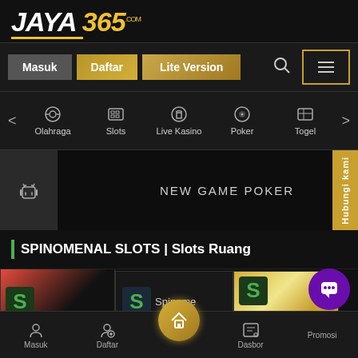[Figure (logo): JAYA 365 logo in white italic bold text with gold/yellow color on 365, gold underline, .com superscript]
[Figure (screenshot): Navigation bar with Masuk (grey), Daftar (gold), Lite Version (gold) buttons, search icon, hamburger menu with gold border]
[Figure (screenshot): Category navigation bar with left arrow, Olahraga, Slots, Live Kasino, Poker, Togel icons and labels, right arrow]
[Figure (screenshot): Banner area with android icon on left grey block, NEW GAME POKER text on right, Hubungi kami yellow vertical tab on far right]
SPINOMENAL SLOTS | Slots Ruang
[Figure (screenshot): Slots game strip showing three slot game cards with S logos and colorful backgrounds]
[Figure (screenshot): Bottom navigation bar with Masuk, Daftar, Home (gold circle center raised), Dasbor, Promosi items, and purple chat bubble button]